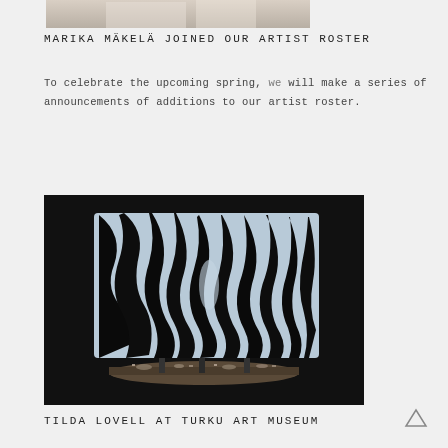[Figure (photo): Partial view of a person in light-colored clothing, top portion of image cropped]
MARIKA MÄKELÄ JOINED OUR ARTIST ROSTER
To celebrate the upcoming spring, we will make a series of announcements of additions to our artist roster.
[Figure (photo): Dark installation artwork showing a large illuminated screen with black and white abstract organic forms, displayed in a dark room with objects on a low platform]
TILDA LOVELL AT TURKU ART MUSEUM